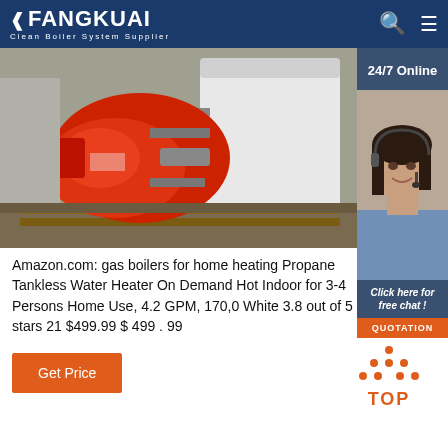FANGKUAI — Clean Boiler System Supplier
[Figure (photo): Industrial gas boiler with red burner unit on the left side and large white cylindrical tank on the right, mounted on a wooden pallet in an industrial setting.]
[Figure (photo): 24/7 Online customer service agent — woman wearing headset smiling, with 'Click here for free chat!' text and QUOTATION button overlay.]
Amazon.com: gas boilers for home heating Propane Tankless Water Heater On Demand Hot Indoor for 3-4 Persons Home Use, 4.2 GPM, 170,0 White 3.8 out of 5 stars 21 $499.99 $ 499 . 99
Get Price
[Figure (illustration): Orange TOP button with upward-pointing triangle/chevron dots above the text TOP]